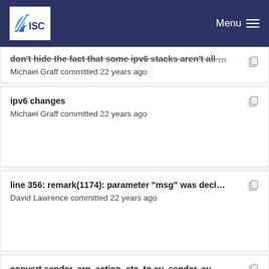ISC | Menu
don't hide the fact that some ipv6 stacks aren't all … — Michael Graff committed 22 years ago
ipv6 changes — Michael Graff committed 22 years ago
line 356: remark(1174): parameter "msg" was decl… — David Lawrence committed 22 years ago
convert sender, arg, action, etc. to ev_sender, ev_… — Michael Graff committed 22 years ago